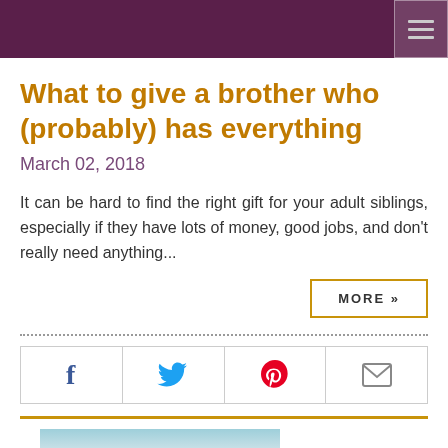What to give a brother who (probably) has everything
March 02, 2018
It can be hard to find the right gift for your adult siblings, especially if they have lots of money, good jobs, and don't really need anything...
MORE »
[Figure (screenshot): Social sharing icons: Facebook, Twitter, Pinterest, Email]
[Figure (photo): Partial landscape photo at bottom of page]